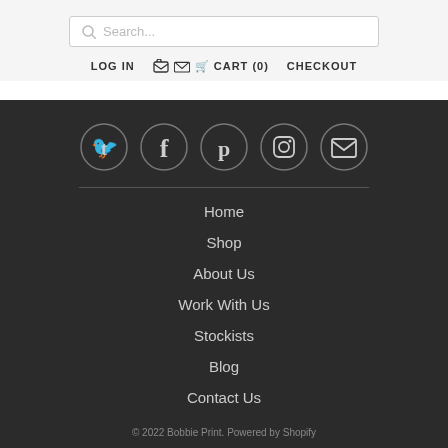Search...
LOG IN
CART (0)
CHECKOUT
[Figure (infographic): Five social media icons in dark circles: Twitter, Facebook, Pinterest, Instagram, Email]
Home
Shop
About Us
Work With Us
Stockists
Blog
Contact Us
© 2022 Bobbie Print. Powered by Shopify